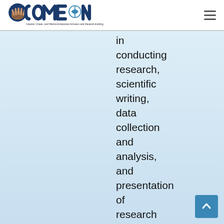[Figure (logo): COME IN logo - Coastal, Ocean, and Marine Enterprise Inclusion and Network building]
in conducting research, scientific writing, data collection and analysis, and presentation of research findings to
[Figure (other): Back to top button - arrow pointing upward on blue background]